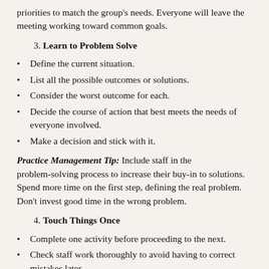priorities to match the group's needs. Everyone will leave the meeting working toward common goals.
3. Learn to Problem Solve
Define the current situation.
List all the possible outcomes or solutions.
Consider the worst outcome for each.
Decide the course of action that best meets the needs of everyone involved.
Make a decision and stick with it.
Practice Management Tip: Include staff in the problem-solving process to increase their buy-in to solutions. Spend more time on the first step, defining the real problem. Don't invest good time in the wrong problem.
4. Touch Things Once
Complete one activity before proceeding to the next.
Check staff work thoroughly to avoid having to correct mistakes later.
Find a routine that works for you and stick to it.